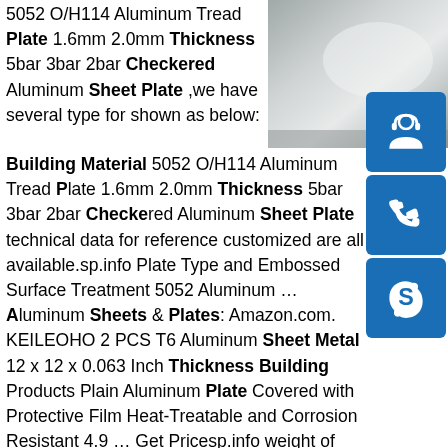[Figure (photo): Aluminum tread plate / sheet metal surface close-up photo]
[Figure (illustration): Three blue icon buttons: headset/customer service icon, phone icon, Skype icon]
5052 O/H114 Aluminum Tread Plate 1.6mm 2.0mm Thickness 5bar 3bar 2bar Checkered Aluminum Sheet Plate ,we have several type for shown as below: Building Material 5052 O/H114 Aluminum Tread Plate 1.6mm 2.0mm Thickness 5bar 3bar 2bar Checkered Aluminum Sheet Plate technical data for reference customized are all available.sp.info Plate Type and Embossed Surface Treatment 5052 Aluminum ...Aluminum Sheets & Plates: Amazon.com. KEILEOHO 2 PCS T6 Aluminum Sheet Metal 12 x 12 x 0.063 Inch Thickness Building Products Plain Aluminum Plate Covered with Protective Film Heat-Treatable and Corrosion Resistant 4.9 … Get Pricesp.info weight of steel plate 2mm thickness - alibaba.com2mm Thickness Steel 0.3-3.0mmplate 304 Stainless Sheet AISI 304 304l 4mm 3mm 2mm 1mm Thickness Customized Size Stainless Steel Sheet/ plate.